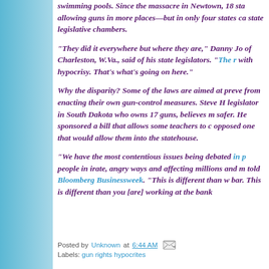swimming pools. Since the massacre in Newtown, 18 sta allowing guns in more places—but in only four states c state legislative chambers.
"They did it everywhere but where they are," Danny Jo of Charleston, W.Va., said of his state legislators. "The r with hypocrisy. That's what's going on here."
Why the disparity? Some of the laws are aimed at preve from enacting their own gun-control measures. Steve H legislator in South Dakota who owns 17 guns, believes m safer. He sponsored a bill that allows some teachers to c opposed one that would allow them into the statehouse.
"We have the most contentious issues being debated in p people in irate, angry ways and affecting millions and m told Bloomberg Businessweek. "This is different than w bar. This is different than you [are] working at the bank
Posted by Unknown at 6:44 AM   Labels: gun rights hypocrites